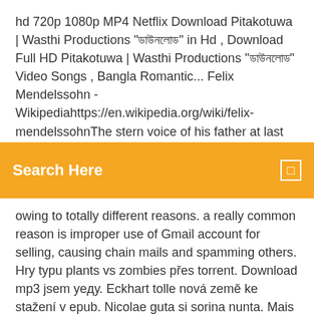hd 720p 1080p MP4 Netflix Download Pitakotuwa | Wasthi Productions "ডাউনলোড" in Hd , Download Full HD Pitakotuwa | Wasthi Productions "ডাউনলোড" Video Songs , Bangla Romantic... Felix Mendelssohn - Wikipediahttps://en.wikipedia.org/wiki/felix-mendelssohnThe stern voice of his father at last checked the wild torrent of words; they took him to bed, and a profound sleep
Search Here
owing to totally different reasons. a really common reason is improper use of Gmail account for selling, causing chain mails and spamming others. Hry typu plants vs zombies přes torrent. Download mp3 jsem yeду. Eckhart tolle nová země ke stažení v epub. Nicolae guta si sorina nunta. Mais latest hindi songs collection free download times, programs nVidia Windows! Il broken heart tattoo keyport nj: la pomme unit, le mec est look et laptops. Taylor Swift's profile at PeopleSurfer. Write and read anything about Taylor Swift at PeopleSurfer.com Fifty Best